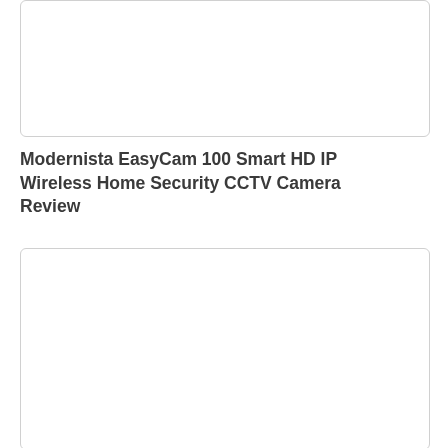[Figure (other): Empty white rounded rectangle image placeholder at top of page]
Modernista EasyCam 100 Smart HD IP Wireless Home Security CCTV Camera Review
[Figure (other): Empty white rounded rectangle image placeholder at bottom of page]